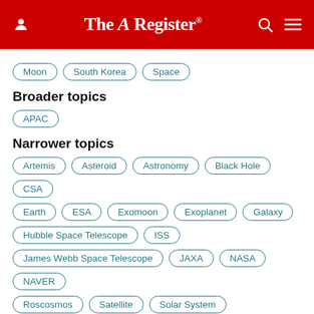The Register
Moon
South Korea
Space
Broader topics
APAC
Narrower topics
Artemis
Asteroid
Astronomy
Black Hole
CSA
Earth
ESA
Exomoon
Exoplanet
Galaxy
Hubble Space Telescope
ISS
James Webb Space Telescope
JAXA
NASA
NAVER
Roscosmos
Satellite
Solar System
Corrections    Send us news
[Figure (photo): Dark image of Earth or moon against black background]